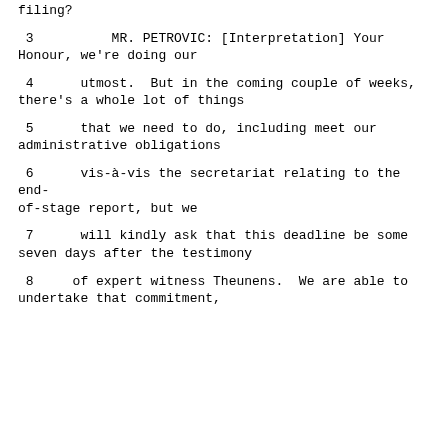filing?
3          MR. PETROVIC: [Interpretation] Your Honour, we're doing our
4      utmost.  But in the coming couple of weeks, there's a whole lot of things
5      that we need to do, including meet our administrative obligations
6      vis-à-vis the secretariat relating to the end-of-stage report, but we
7      will kindly ask that this deadline be some seven days after the testimony
8      of expert witness Theunens.  We are able to undertake that commitment,